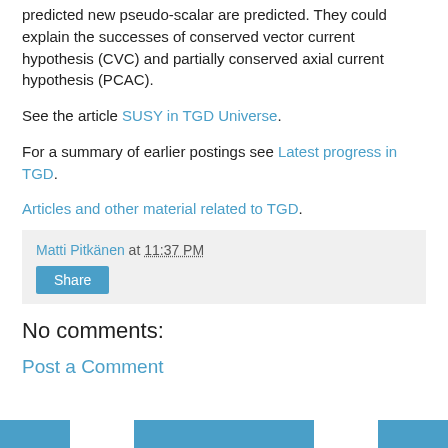predicted new pseudo-scalar are predicted. They could explain the successes of conserved vector current hypothesis (CVC) and partially conserved axial current hypothesis (PCAC).
See the article SUSY in TGD Universe.
For a summary of earlier postings see Latest progress in TGD.
Articles and other material related to TGD.
Matti Pitkänen at 11:37 PM
No comments:
Post a Comment